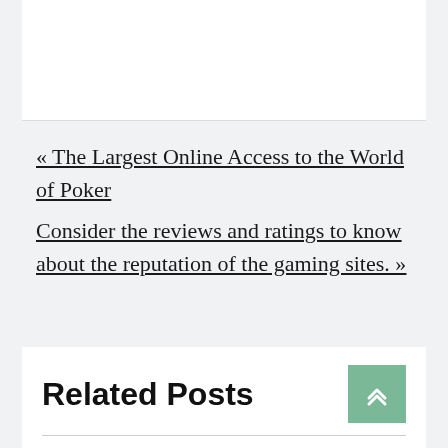« The Largest Online Access to the World of Poker
Consider the reviews and ratings to know about the reputation of the gaming sites. »
Related Posts